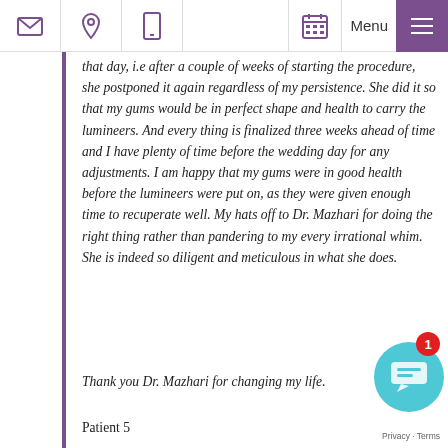Navigation bar with email, location, phone icons and calendar, Menu icons
that day, i.e after a couple of weeks of starting the procedure, she postponed it again regardless of my persistence. She did it so that my gums would be in perfect shape and health to carry the lumineers. And every thing is finalized three weeks ahead of time and I have plenty of time before the wedding day for any adjustments. I am happy that my gums were in good health before the lumineers were put on, as they were given enough time to recuperate well. My hats off to Dr. Mazhari for doing the right thing rather than pandering to my every irrational whim. She is indeed so diligent and meticulous in what she does.
Thank you Dr. Mazhari for changing my life.
Patient 5